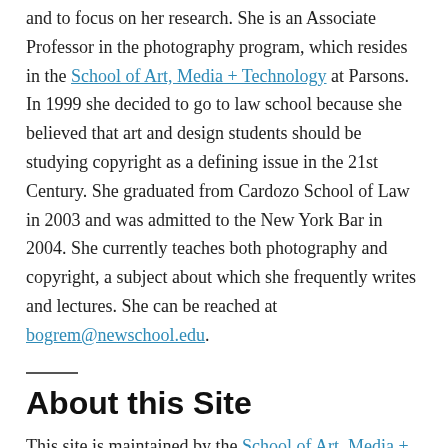and to focus on her research.  She is an Associate Professor in the photography program, which resides in the School of Art, Media + Technology at Parsons.  In 1999 she decided to go to law school because she believed that art and design students should be studying copyright as a defining issue in the 21st Century.  She graduated from Cardozo School of Law in 2003 and was admitted to the New York Bar in 2004.  She currently teaches both photography and copyright, a subject about which she frequently writes and lectures.  She can be reached at bogrem@newschool.edu.
About this Site
This site is maintained by the School of Art, Media +